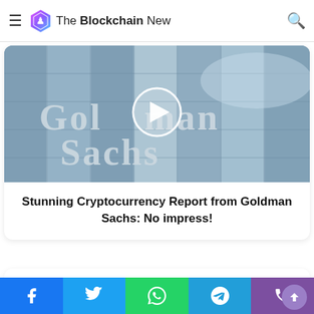The Blockchain New
Strategist: It's All Legendi...
[Figure (screenshot): Goldman Sachs building glass facade with play button overlay, video thumbnail]
Stunning Cryptocurrency Report from Goldman Sachs: No impress!
Leave a Reply
Your email address will not be published. Required fields are marked
Facebook, Twitter, WhatsApp, Telegram, Phone social share buttons